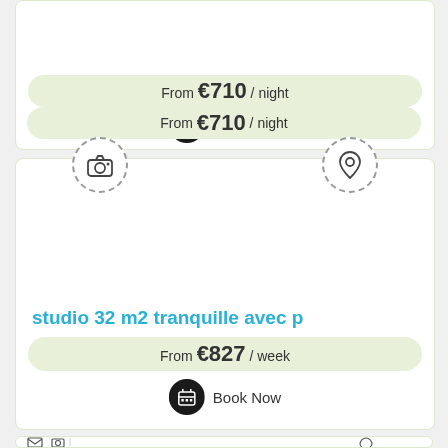From €710 / night
Book Now
[Figure (illustration): Property listing card with camera icon and map pin icon, showing a studio apartment listing]
studio 32 m2 tranquille avec p
From €827 / week
Book Now